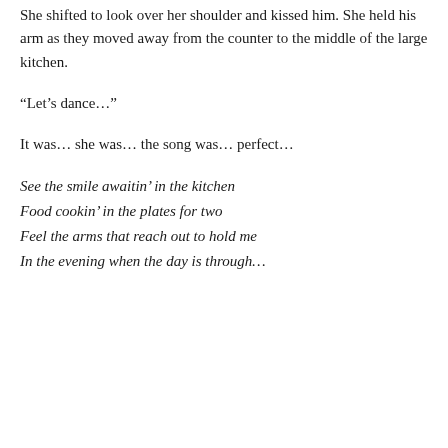She shifted to look over her shoulder and kissed him. She held his arm as they moved away from the counter to the middle of the large kitchen.
“Let’s dance…”
It was… she was… the song was… perfect…
See the smile awaitin’ in the kitchen
Food cookin’ in the plates for two
Feel the arms that reach out to hold me
In the evening when the day is through…